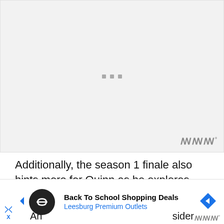[Figure (other): Loading placeholder image area with three grey dots in the center and a watermark logo in the bottom right corner]
Additionally, the season 1 finale also hints more for Quinn as he explores new paths in his love life and
as [cut off] rious for An [cut off] sider
[Figure (other): Advertisement banner: Back To School Shopping Deals - Leesburg Premium Outlets with navigation arrow icons and close button]